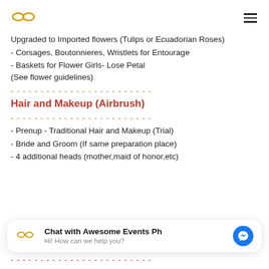Awesome Events Ph logo and navigation menu
Upgraded to Imported flowers (Tulips or Ecuadorian Roses)
- Corsages, Boutonnieres, Wristlets for Entourage
- Baskets for Flower Girls- Lose Petal (See flower guidelines)
-------------------------
Hair and Makeup (Airbrush)
-------------------------
- Prenup - Traditional Hair and Makeup (Trial)
- Bride and Groom (If same preparation place)
- 4 additional heads (mother,maid of honor,etc)
Chat with Awesome Events Ph — Hi! How can we help you?
-------------------------